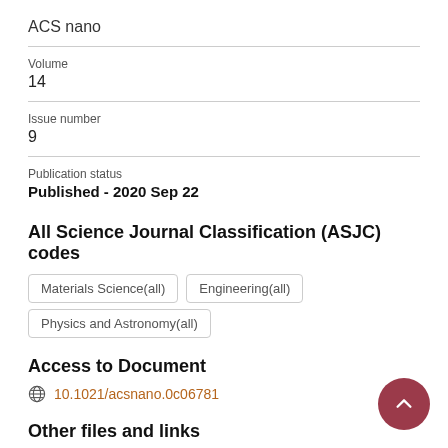ACS nano
Volume
14
Issue number
9
Publication status
Published - 2020 Sep 22
All Science Journal Classification (ASJC) codes
Materials Science(all)
Engineering(all)
Physics and Astronomy(all)
Access to Document
10.1021/acsnano.0c06781
Other files and links